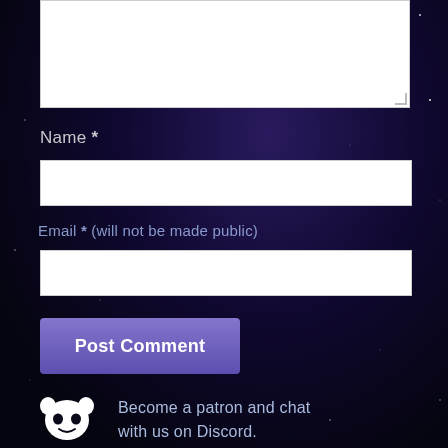[Figure (screenshot): Comment form text area (top, partially visible white textarea with resize handle)]
Name *
[Figure (screenshot): Name input field (white rectangle)]
Email * (will not be made public)
[Figure (screenshot): Email input field (white rectangle)]
[Figure (screenshot): Post Comment button (purple/violet rounded button)]
Become a patron and chat with us on Discord.